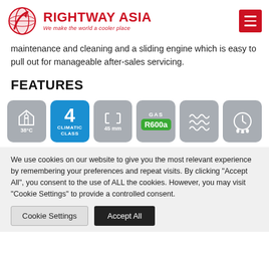RIGHTWAY ASIA — We make the world a cooler place
maintenance and cleaning and a sliding engine which is easy to pull out for manageable after-sales servicing.
FEATURES
[Figure (infographic): Row of six feature icon badges: 38°C temperature, 4 Climatic Class (blue), 45 mm spacing, GAS R600a (green badge), coil/compressor icon, water drops icon]
We use cookies on our website to give you the most relevant experience by remembering your preferences and repeat visits. By clicking "Accept All", you consent to the use of ALL the cookies. However, you may visit "Cookie Settings" to provide a controlled consent.